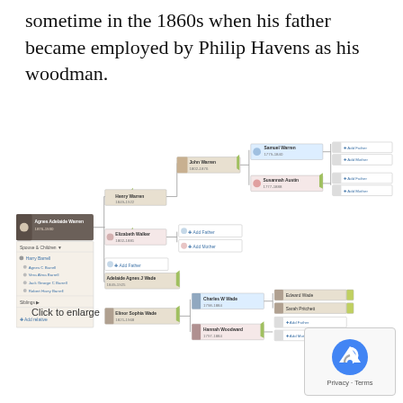sometime in the 1860s when his father became employed by Philip Havens as his woodman.
[Figure (organizational-chart): Family tree / ancestry chart showing Agnes Adelaide Warren (1876-1930) with ancestors including Henry Warren (1849-1922), John Warren (1802-1876), Samuel Warren (1779-1840), Susannah Austin (1777-1888), Elizabeth Walker (1802-1881), Adelaide Agnes J Wade (1849-1925), Elinor Sophia Wade (1821-1968), Charles W Wade (1798-1884), Hannah Woodward (1797-1884), Edward Wade, Sarah Pritchett. Left panel shows Spouse & Children: Harry Barrell, Agnes C Barrell, Vera Alma Barrell, Jack George C Barrell, Robert Harry Barrell. Siblings section and Add relative option also visible.]
Click to enlarge